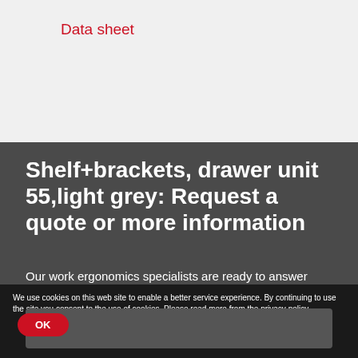Data sheet
Shelf+brackets, drawer unit 55,light grey: Request a quote or more information
Our work ergonomics specialists are ready to answer your inquiries.
We use cookies on this web site to enable a better service experience. By continuing to use the site you consent to the use of cookies. Please read more from the privacy policy.